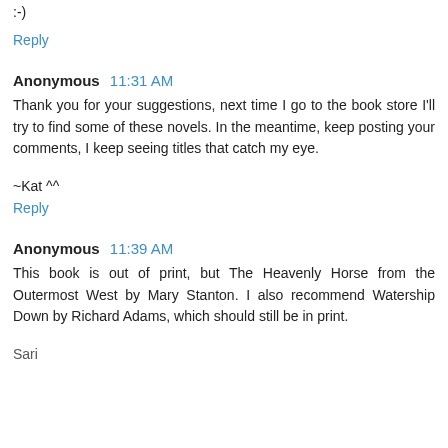:-)
Reply
Anonymous  11:31 AM
Thank you for your suggestions, next time I go to the book store I'll try to find some of these novels. In the meantime, keep posting your comments, I keep seeing titles that catch my eye.
~Kat ^^
Reply
Anonymous  11:39 AM
This book is out of print, but The Heavenly Horse from the Outermost West by Mary Stanton. I also recommend Watership Down by Richard Adams, which should still be in print.
Sari